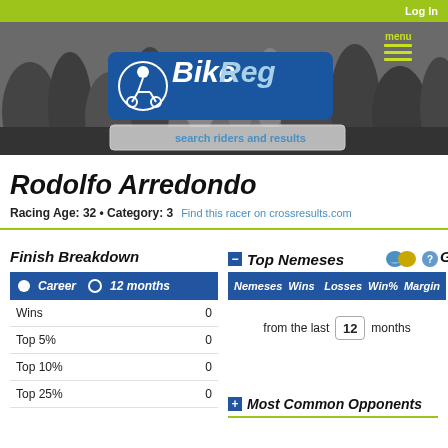Log In
[Figure (screenshot): BikeReg website header with cyclist race photo background, BikeReg logo, search bar, and menu icon]
Rodolfo Arredondo
Racing Age: 32 • Category: 3  Find this racer on crossresults.com
Finish Breakdown
|  | Career | 12 months |
| --- | --- | --- |
| Wins | 0 |  |
| Top 5% | 0 |  |
| Top 10% | 0 |  |
| Top 25% | 0 |  |
Top Nemeses
| Nemeses | Wins | Losses | Win% | Margin |
| --- | --- | --- | --- | --- |
from the last 12 months
Most Common Opponents